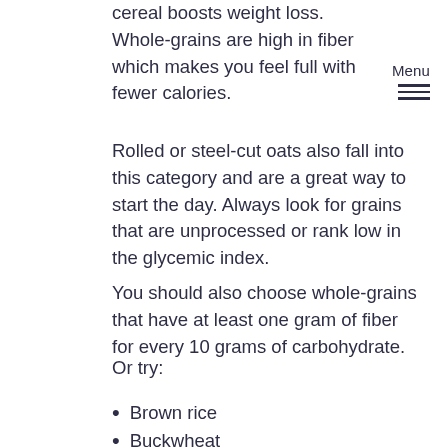cereal boosts weight loss. Whole-grains are high in fiber which makes you feel full with fewer calories.
[Figure (other): Menu icon with label 'Menu' and three horizontal lines (hamburger menu icon)]
Rolled or steel-cut oats also fall into this category and are a great way to start the day. Always look for grains that are unprocessed or rank low in the glycemic index.
You should also choose whole-grains that have at least one gram of fiber for every 10 grams of carbohydrate.
Or try:
Brown rice
Buckwheat